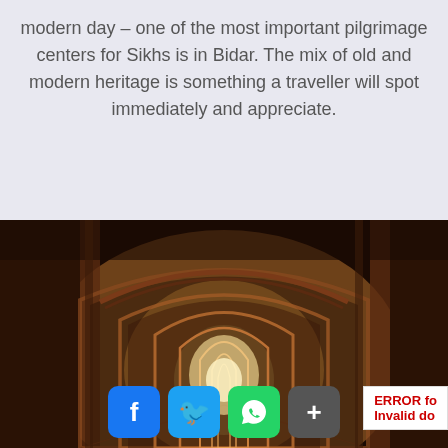modern day – one of the most important pilgrimage centers for Sikhs is in Bidar. The mix of old and modern heritage is something a traveller will spot immediately and appreciate.
[Figure (photo): Interior corridor of an ancient stone structure showing a long series of ornate arched passageways receding into the distance, with warm golden-brown tones and dramatic lighting]
ERROR fo Invalid do